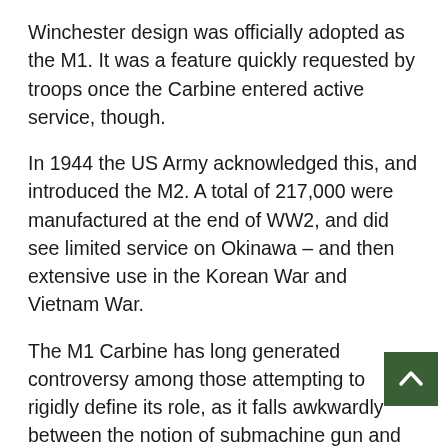Winchester design was officially adopted as the M1. It was a feature quickly requested by troops once the Carbine entered active service, though.
In 1944 the US Army acknowledged this, and introduced the M2. A total of 217,000 were manufactured at the end of WW2, and did see limited service on Okinawa – and then extensive use in the Korean War and Vietnam War.
The M1 Carbine has long generated controversy among those attempting to rigidly define its role, as it falls awkwardly between the notion of submachine gun and assault rifle, firing a cartridge that is clearly more powerful than a pistol round but equally clearly less powerful than an intermediate rifle round. Its originally intended role was as a personal defense weapon more effective than the 1911 pistol, and in service it always scored high marks for handiness and poor marks for combat effectiveness. The opinion of soldiers using the Carbine in either its M1 or M2 form was very much depen on what role they expected it to serve.